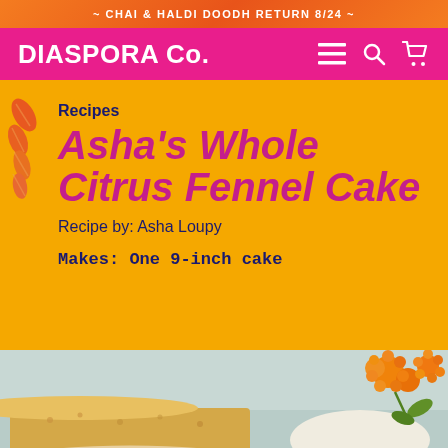~ CHAI & HALDI DOODH RETURN 8/24 ~
DIASPORA Co.
Recipes
Asha's Whole Citrus Fennel Cake
Recipe by: Asha Loupy
Makes: One 9-inch cake
[Figure (photo): Photo of a golden whole citrus fennel cake on a plate with powdered sugar and orange marigold flowers]